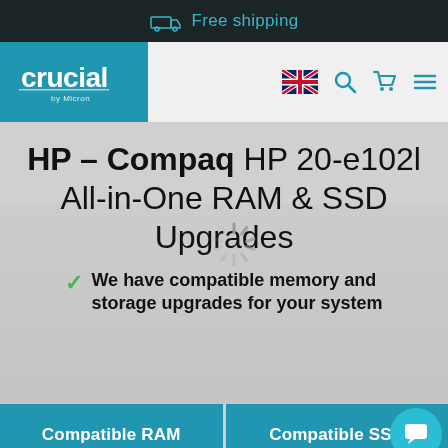Free shipping
[Figure (logo): Crucial by Micron logo on teal background]
HP – Compaq HP 20-e102l All-in-One RAM & SSD Upgrades
We have compatible memory and storage upgrades for your system
Compatible RAM
Compatible SSD